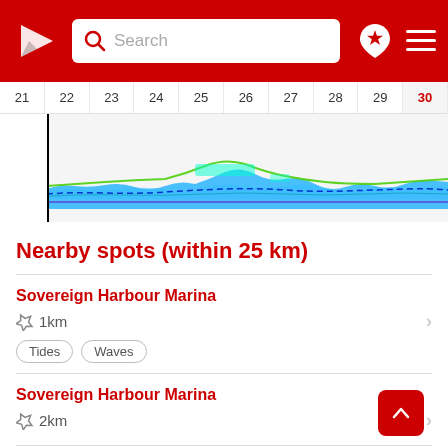[Figure (screenshot): App header with red background, Windy app logo (white triangle/arrow), search bar with magnifying glass icon and 'Search' placeholder text, map pin icon with red star, and hamburger menu icon]
[Figure (continuous-plot): Calendar date row showing dates 21-30 with date 30 highlighted in red, followed by a wave/tidal forecast chart with blue wave area, green line overlays, and cyan highlights. A vertical black line marks the current position (around date 21). Background is light gray for the chart area.]
Nearby spots (within 25 km)
Sovereign Harbour Marina
1km
Tides
Waves
Sovereign Harbour Marina
2km